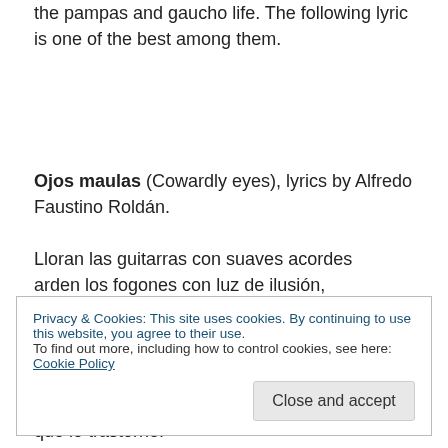the pampas and gaucho life. The following lyric is one of the best among them.
Ojos maulas (Cowardly eyes), lyrics by Alfredo Faustino Roldán.
Lloran las guitarras con suaves acordes
arden los fogones con luz de ilusión,
Privacy & Cookies: This site uses cookies. By continuing to use this website, you agree to their use.
To find out more, including how to control cookies, see here: Cookie Policy
que lo trastorné.